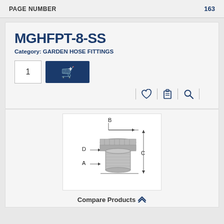PAGE NUMBER 163
MGHFPT-8-SS
Category: GARDEN HOSE FITTINGS
[Figure (screenshot): Quantity input box showing '1' and a dark blue Add to Cart button with a shopping cart plus icon]
[Figure (screenshot): Row of action icons: vertical separator, heart/wishlist icon, clipboard icon, vertical separator, magnifying glass/search icon, vertical separator]
[Figure (engineering-diagram): Technical diagram of a garden hose fitting (MGHFPT-8-SS) with dimension labels A, B, C, D indicating different measurement points on the threaded fitting component]
Compare Products ⋀